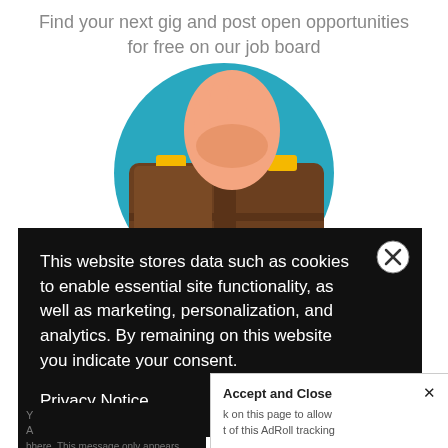Find your next gig and post open opportunities for free on our job board
[Figure (illustration): A hand holding a brown leather briefcase on a teal circular background]
This website stores data such as cookies to enable essential site functionality, as well as marketing, personalization, and analytics. By remaining on this website you indicate your consent.
Privacy Notice
Accept and Close ✕
k on this page to allow t of this AdRoll tracking